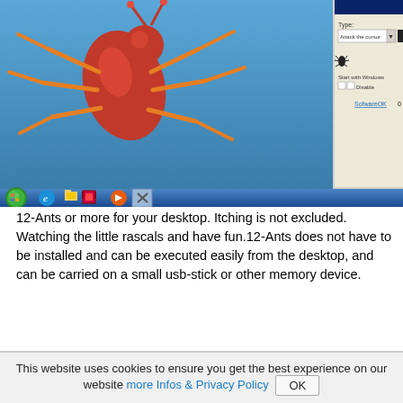[Figure (screenshot): Screenshot of desktop application '12-Ants' showing a colorful 3D ant on a blue Windows XP-style desktop with a settings panel on the right side showing 'Type: Attack the cursor', 'Start with Windows', 'Disable' checkboxes, and 'SofwareOK' link. Taskbar visible at bottom with Windows XP start button and various icons.]
12-Ants or more for your desktop. Itching is not excluded. Watching the little rascals and have fun.12-Ants does not have to be installed and can be executed easily from the desktop, and can be carried on a small usb-stick or other memory device.
► ► ... Back to 12-Ants
This website uses cookies to ensure you get the best experience on our website more Infos & Privacy Policy OK